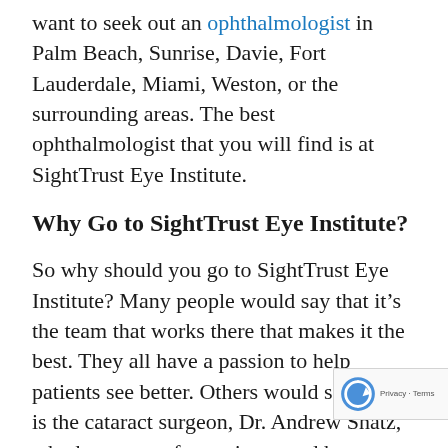want to seek out an ophthalmologist in Palm Beach, Sunrise, Davie, Fort Lauderdale, Miami, Weston, or the surrounding areas. The best ophthalmologist that you will find is at SightTrust Eye Institute.
Why Go to SightTrust Eye Institute?
So why should you go to SightTrust Eye Institute? Many people would say that it’s the team that works there that makes it the best. They all have a passion to help patients see better. Others would say that it is the cataract surgeon, Dr. Andrew Shatz, who has years of experience and has performed thousands of successful surgeries. In truth, it is all of the above that work in harmony and provides patients with an outstanding range of options